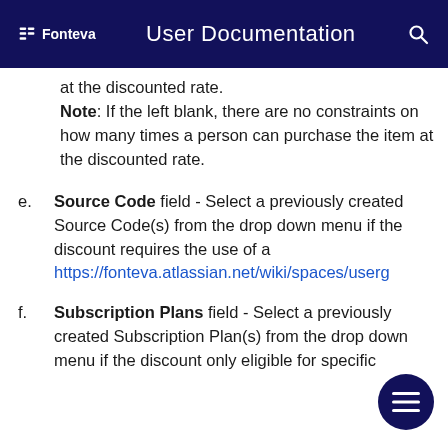Fonteva  User Documentation
at the discounted rate.
Note: If the left blank, there are no constraints on how many times a person can purchase the item at the discounted rate.
e. Source Code field - Select a previously created Source Code(s) from the drop down menu if the discount requires the use of a https://fonteva.atlassian.net/wiki/spaces/userg
f. Subscription Plans field - Select a previously created Subscription Plan(s) from the drop down menu if the discount only eligible for specific